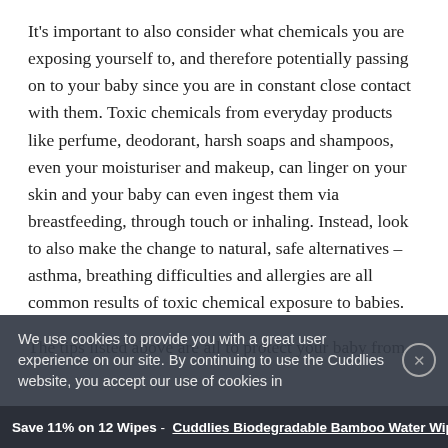It's important to also consider what chemicals you are exposing yourself to, and therefore potentially passing on to your baby since you are in constant close contact with them. Toxic chemicals from everyday products like perfume, deodorant, harsh soaps and shampoos, even your moisturiser and makeup, can linger on your skin and your baby can even ingest them via breastfeeding, through touch or inhaling. Instead, look to also make the change to natural, safe alternatives – asthma, breathing difficulties and allergies are all common results of toxic chemical exposure to babies.
The tips listed above are all to protect your baby from
We use cookies to provide you with a great user experience on our site. By continuing to use the Cuddlies website, you accept our use of cookies in
Save 11% on 12 Wipes -  Cuddlies Biodegradable Bamboo Water Wipes - 4 pack